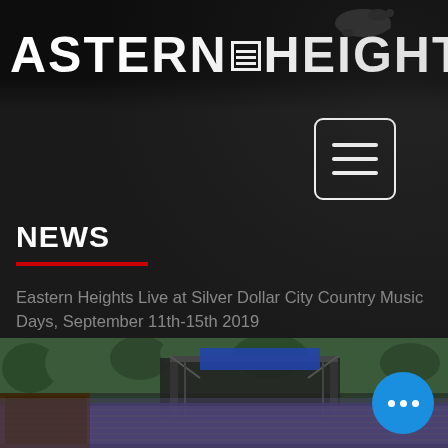EASTERN HEIGHTS
[Figure (other): Hamburger menu button icon — three horizontal white bars inside a white-bordered rounded square]
NEWS
Eastern Heights Live at Silver Dollar City Country Music Days, September 11th-15th 2019
Silver Dollar City CMD Lineup
[Figure (photo): Outdoor amphitheater concert with large crowd and stage with truss structures, surrounded by green trees]